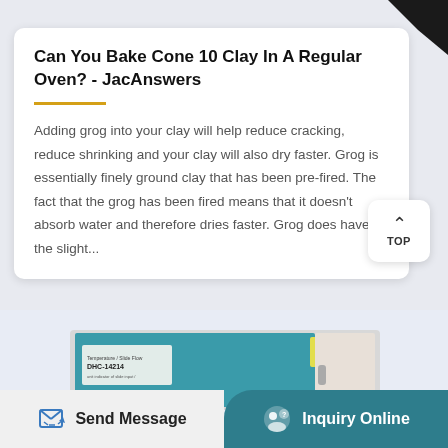Can You Bake Cone 10 Clay In A Regular Oven? - JacAnswers
Adding grog into your clay will help reduce cracking, reduce shrinking and your clay will also dry faster. Grog is essentially finely ground clay that has been pre-fired. The fact that the grog has been fired means that it doesn't absorb water and therefore dries faster. Grog does have the slight...
[Figure (photo): Photo of a laboratory or industrial oven/furnace unit, model DHC-14214, with a teal/blue front panel and warning label on the upper right.]
Send Message
Inquiry Online